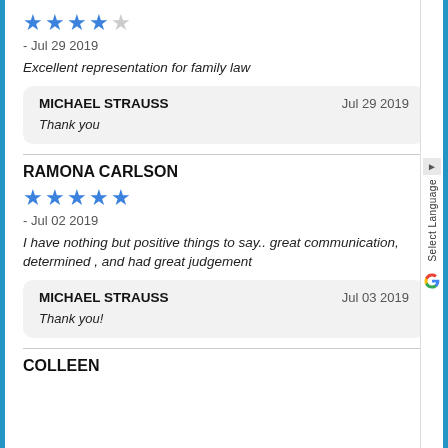[Figure (other): 4 out of 5 stars rating]
- Jul 29 2019
Excellent representation for family law
MICHAEL STRAUSS   Jul 29 2019
Thank you
RAMONA CARLSON
[Figure (other): 5 out of 5 stars rating]
- Jul 02 2019
I have nothing but positive things to say.. great communication, determined , and had great judgement
MICHAEL STRAUSS   Jul 03 2019
Thank you!
COLLEEN